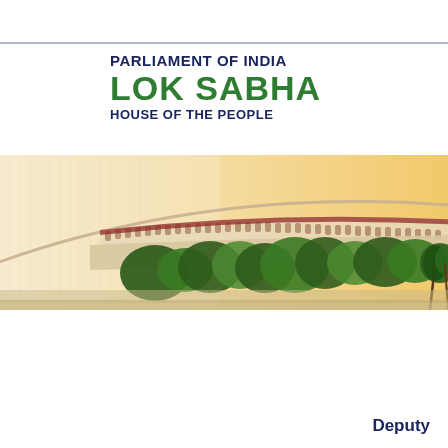PARLIAMENT OF INDIA
LOK SABHA
HOUSE OF THE PEOPLE
[Figure (photo): Panoramic illustration of the Parliament of India building (Sansad Bhavan) with a warm golden-orange sky gradient background, the circular colonnaded structure visible with trees in the foreground.]
Deputy